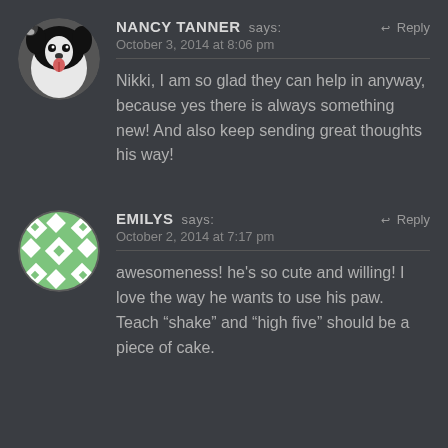NANCY TANNER says: October 3, 2014 at 8:06 pm
Nikki, I am so glad they can help in anyway, because yes there is always something new! And also keep sending great thoughts his way!
EMILYS says: October 2, 2014 at 7:17 pm
awesomeness! he's so cute and willing! I love the way he wants to use his paw. Teach “shake” and “high five” should be a piece of cake.